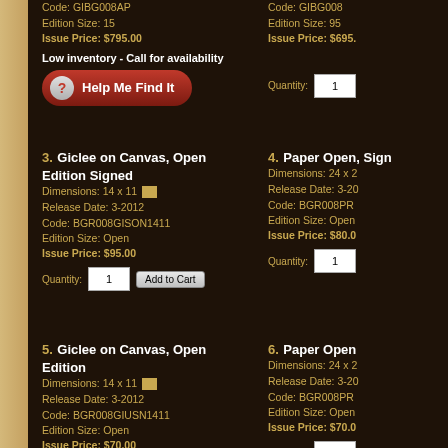Code: GIBG008AP
Edition Size: 15
Issue Price: $795.00
Low inventory - Call for availability
[Figure (infographic): Red rounded button with question mark circle icon and text 'Help Me Find It']
Code: GIBG008
Edition Size: 95
Issue Price: $695.
3. Giclee on Canvas, Open Edition Signed
Dimensions: 14 x 11
Release Date: 3-2012
Code: BGR008GISON1411
Edition Size: Open
Issue Price: $95.00
4. Paper Open, Sign
Dimensions: 24 x 2
Release Date: 3-20
Code: BGR008PR
Edition Size: Open
Issue Price: $80.0
5. Giclee on Canvas, Open Edition
Dimensions: 14 x 11
Release Date: 3-2012
Code: BGR008GIUSN1411
Edition Size: Open
Issue Price: $70.00
6. Paper Open
Dimensions: 24 x 2
Release Date: 3-20
Code: BGR008PR
Edition Size: Open
Issue Price: $70.0